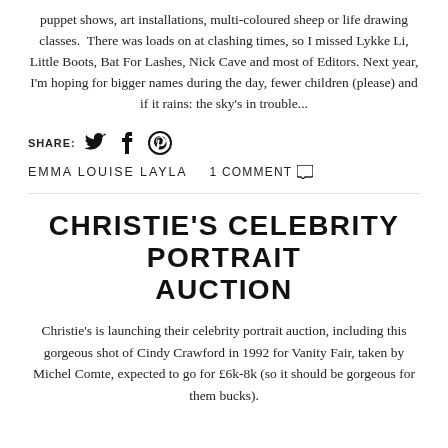puppet shows, art installations, multi-coloured sheep or life drawing classes.  There was loads on at clashing times, so I missed Lykke Li, Little Boots, Bat For Lashes, Nick Cave and most of Editors. Next year, I'm hoping for bigger names during the day, fewer children (please) and if it rains: the sky's in trouble...
SHARE:
EMMA LOUISE LAYLA   1 COMMENT
CHRISTIE'S CELEBRITY PORTRAIT AUCTION
Christie's is launching their celebrity portrait auction, including this gorgeous shot of Cindy Crawford in 1992 for Vanity Fair, taken by Michel Comte, expected to go for £6k-8k (so it should be gorgeous for them bucks).